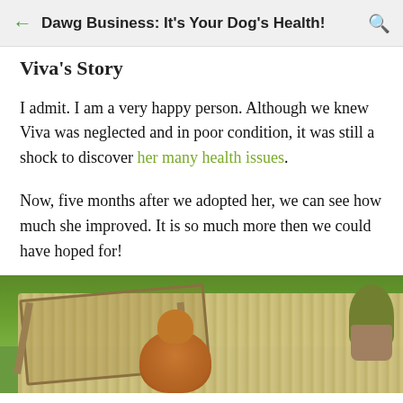Dawg Business: It's Your Dog's Health!
Viva's Story
I admit. I am a very happy person. Although we knew Viva was neglected and in poor condition, it was still a shock to discover her many health issues.
Now, five months after we adopted her, we can see how much she improved. It is so much more then we could have hoped for!
[Figure (photo): A golden/brown dog sitting on or near a wooden deck/lounge chair outdoors, with green grass and plants visible in the background.]